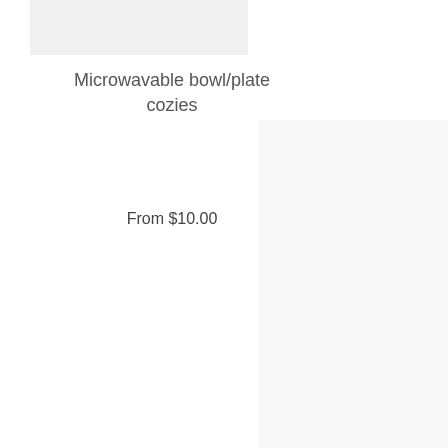[Figure (photo): Product image placeholder - light gray rectangle at top left]
Microwavable bowl/plate cozies
From $10.00
[Figure (photo): Product image placeholder - light gray rectangle at right side]